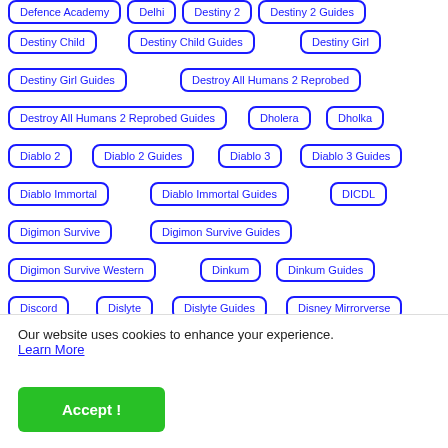Defence Academy
Delhi
Destiny 2
Destiny 2 Guides
Destiny Child
Destiny Child Guides
Destiny Girl
Destiny Girl Guides
Destroy All Humans 2 Reprobed
Destroy All Humans 2 Reprobed Guides
Dholera
Dholka
Diablo 2
Diablo 2 Guides
Diablo 3
Diablo 3 Guides
Diablo Immortal
Diablo Immortal Guides
DICDL
Digimon Survive
Digimon Survive Guides
Digimon Survive Western
Dinkum
Dinkum Guides
Discord
Dislyte
Dislyte Guides
Disney Mirrorverse
Disney Mirrorverse Guides
District Health Society
Our website uses cookies to enhance your experience. Learn More
Accept !